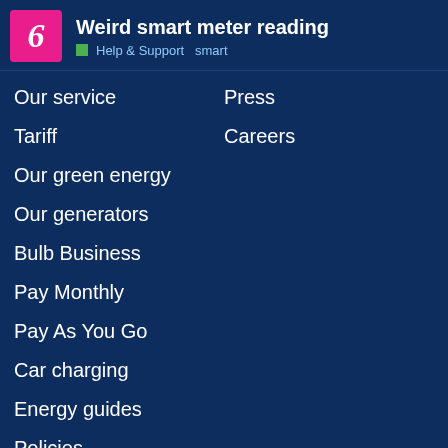Weird smart meter reading — Help & Support smart
Our service
Press
Tariff
Careers
Our green energy
Our generators
Bulb Business
Pay Monthly
Pay As You Go
Car charging
Energy guides
Policies
Modern slavery statement
Terms & conditions